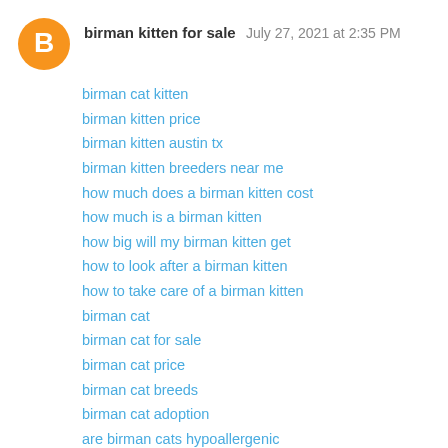[Figure (illustration): Orange circle avatar with white Blogger 'B' logo icon]
birman kitten for sale  July 27, 2021 at 2:35 PM
birman cat kitten
birman kitten price
birman kitten austin tx
birman kitten breeders near me
how much does a birman kitten cost
how much is a birman kitten
how big will my birman kitten get
how to look after a birman kitten
how to take care of a birman kitten
birman cat
birman cat for sale
birman cat price
birman cat breeds
birman cat adoption
are birman cats hypoallergenic
how much does a birman cat cost
how much is a birman cat
can birman cats go outside
birmans cat